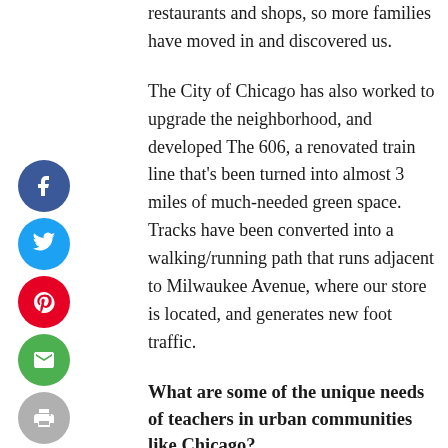restaurants and shops, so more families have moved in and discovered us.
The City of Chicago has also worked to upgrade the neighborhood, and developed The 606, a renovated train line that’s been turned into almost 3 miles of much-needed green space. Tracks have been converted into a walking/running path that runs adjacent to Milwaukee Avenue, where our store is located, and generates new foot traffic.
What are some of the unique needs of teachers in urban communities like Chicago?